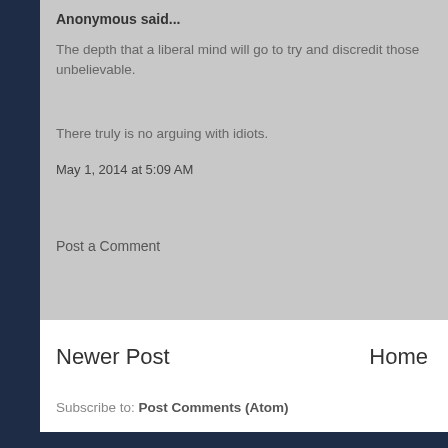Anonymous said...
The depth that a liberal mind will go to try and discredit those unbelievable.
There truly is no arguing with idiots.
May 1, 2014 at 5:09 AM
Post a Comment
Newer Post
Home
Subscribe to: Post Comments (Atom)